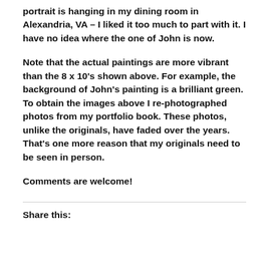portrait is hanging in my dining room in Alexandria, VA – I liked it too much to part with it.  I have no idea where the one of John is now.
Note that the actual paintings are more vibrant than the 8 x 10's shown above.  For example, the background of John's painting is a brilliant green.  To obtain the images above I re-photographed photos from my portfolio book.  These photos, unlike the originals, have faded over the years.  That's one more reason that my originals need to be seen in person.
Comments are welcome!
Share this: